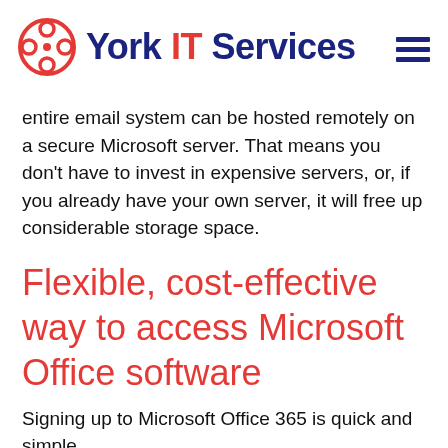York IT Services
entire email system can be hosted remotely on a secure Microsoft server. That means you don't have to invest in expensive servers, or, if you already have your own server, it will free up considerable storage space.
Flexible, cost-effective way to access Microsoft Office software
Signing up to Microsoft Office 365 is quick and simple.